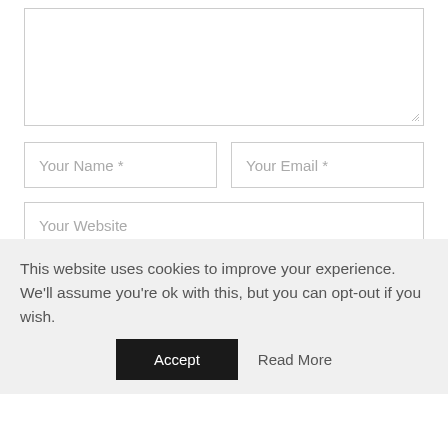[Figure (screenshot): A comment form textarea (empty, resizable) at the top of the page]
Your Name *
Your Email *
Your Website
Save my name, email, and website in this browser for the next time I comment.
POST COMMENT
This website uses cookies to improve your experience. We'll assume you're ok with this, but you can opt-out if you wish.
Accept
Read More